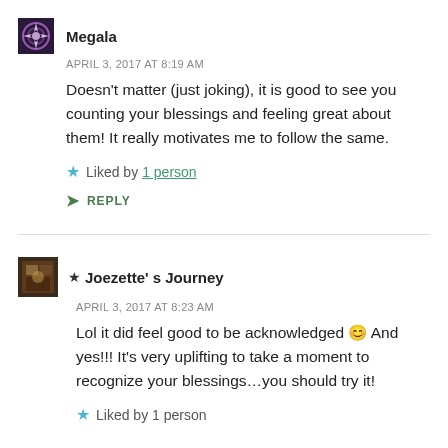Megala
APRIL 3, 2017 AT 8:19 AM
Doesn't matter (just joking), it is good to see you counting your blessings and feeling great about them! It really motivates me to follow the same.
Liked by 1 person
REPLY
★ Joezette's Journey
APRIL 3, 2017 AT 8:23 AM
Lol it did feel good to be acknowledged ☺ And yes!!! It's very uplifting to take a moment to recognize your blessings...you should try it!
Liked by 1 person